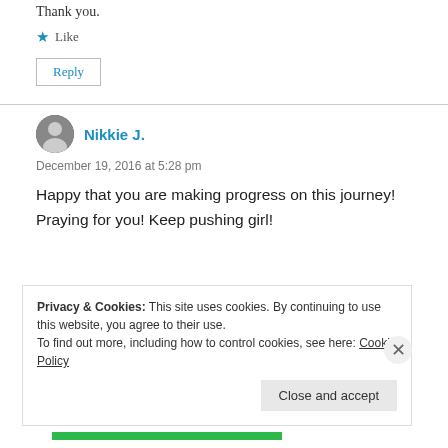Thank you.
★ Like
Reply
Nikkie J.
December 19, 2016 at 5:28 pm
Happy that you are making progress on this journey! Praying for you! Keep pushing girl!
Privacy & Cookies: This site uses cookies. By continuing to use this website, you agree to their use.
To find out more, including how to control cookies, see here: Cookie Policy
Close and accept